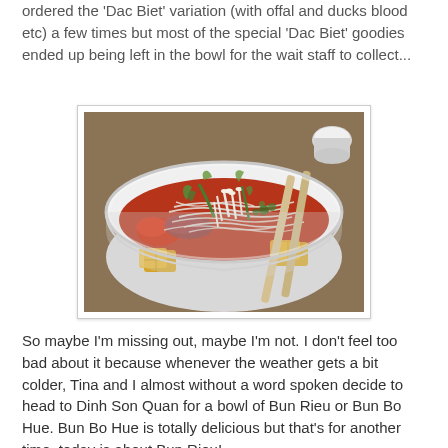ordered the 'Dac Biet' variation (with offal and ducks blood etc) a few times but most of the special 'Dac Biet' goodies ended up being left in the bowl for the wait staff to collect...
[Figure (photo): A white bowl of Vietnamese Bun Rieu soup with red broth, rice vermicelli noodles, tofu, bean sprouts, green vegetables, and chopsticks resting on the side of the bowl.]
So maybe I'm missing out, maybe I'm not. I don't feel too bad about it because whenever the weather gets a bit colder, Tina and I almost without a word spoken decide to head to Dinh Son Quan for a bowl of Bun Rieu or Bun Bo Hue. Bun Bo Hue is totally delicious but that's for another time, today is about Bun Rieu!